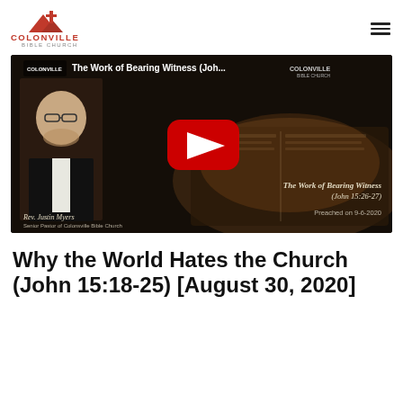[Figure (logo): Colonville Bible Church logo with mountain/church icon in red and the text COLONVILLE BIBLE CHURCH]
[Figure (screenshot): YouTube video thumbnail for 'The Work of Bearing Witness (John 15:26-27)' by Rev. Justin Myers, Senior Pastor of Colonville Bible Church, preached on 9-6-2020. Shows pastor photo on left, open Bible on right, red YouTube play button in center.]
Why the World Hates the Church (John 15:18-25) [August 30, 2020]